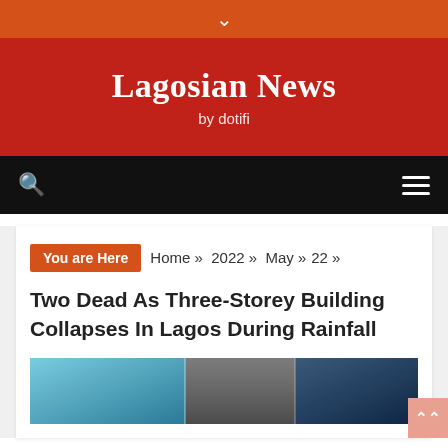▾
Lagosian News
by dotifi
🔍   ☰
You are Here  Home »  2022 »  May »  22 »  Two Dead As Three-Storey Building Collapses In Lagos During Rainfall
[Figure (photo): Thumbnail strip showing collapsed building photos in Lagos]